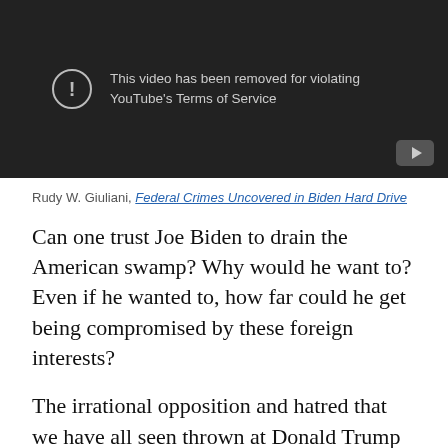[Figure (screenshot): YouTube video removed notice on dark background. Message: 'This video has been removed for violating YouTube's Terms of Service' with warning icon and YouTube play button logo.]
Rudy W. Giuliani, Federal Crimes Uncovered in Biden Hard Drive
Can one trust Joe Biden to drain the American swamp? Why would he want to? Even if he wanted to, how far could he get being compromised by these foreign interests?
The irrational opposition and hatred that we have all seen thrown at Donald Trump over the